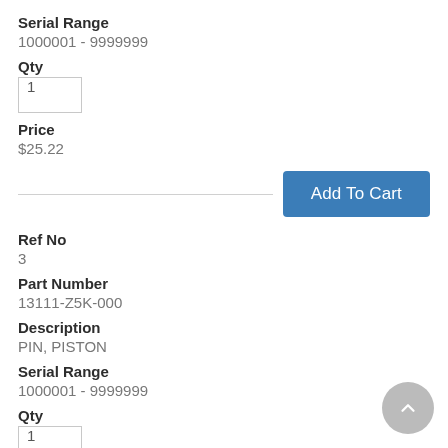Serial Range
1000001 - 9999999
Qty
1
Price
$25.22
Add To Cart
Ref No
3
Part Number
13111-Z5K-000
Description
PIN, PISTON
Serial Range
1000001 - 9999999
Qty
1
Price
$7.64
[Figure (illustration): Back to top button — circular grey button with upward chevron arrow]